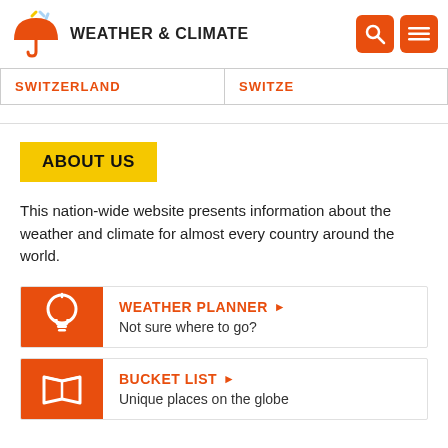WEATHER & CLIMATE
SWITZERLAND
SWITZE
ABOUT US
This nation-wide website presents information about the weather and climate for almost every country around the world.
WEATHER PLANNER ▶ Not sure where to go?
BUCKET LIST ▶ Unique places on the globe